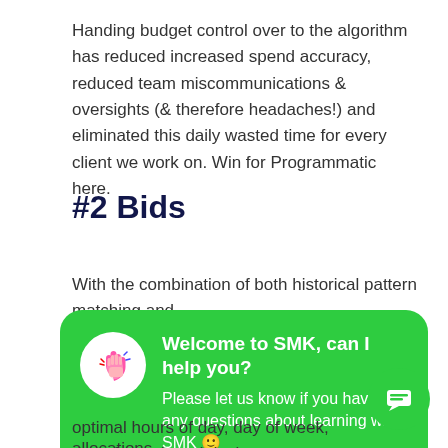Handing budget control over to the algorithm has reduced increased spend accuracy, reduced team miscommunications & oversights (& therefore headaches!) and eliminated this daily wasted time for every client we work on. Win for Programmatic here.
#2 Bids
With the combination of both historical pattern matching and
[Figure (other): Green chat popup with waving hand icon. Title: 'Welcome to SMK, can I help you?' Subtitle: 'Please let us know if you have any questions about learning with SMK 🙂']
optimal hours of day, day of week, day of month and device allocations.
Late face it, this level of budget & bid granularity is impossible
[Figure (other): Green circular floating action button with chat/message icon in bottom right corner]